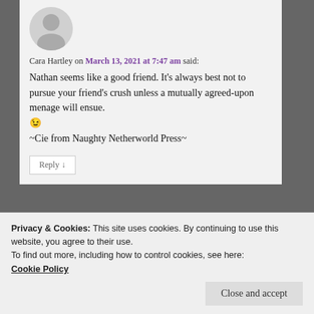[Figure (illustration): Grey circular avatar placeholder with silhouette icon]
Cara Hartley on March 13, 2021 at 7:47 am said:
Nathan seems like a good friend. It’s always best not to pursue your friend’s crush unless a mutually agreed-upon menage will ensue.
😉
~Cie from Naughty Netherworld Press~
Reply ↓
[Figure (photo): Small square photo thumbnail, appears to show a cat or small animal in a container]
Privacy & Cookies: This site uses cookies. By continuing to use this website, you agree to their use.
To find out more, including how to control cookies, see here:
Cookie Policy
Close and accept